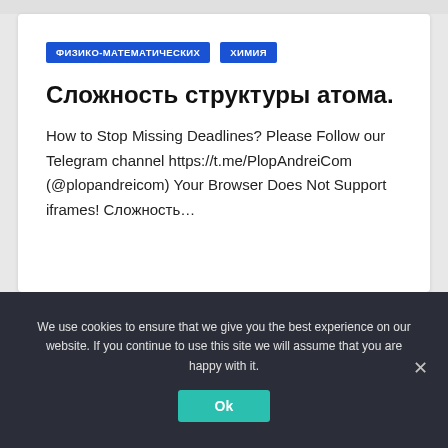ФИЗИКО-МАТЕМАТИЧЕСКИХ  ХИМИЯ
Сложность структуры атома.
How to Stop Missing Deadlines? Please Follow our Telegram channel https://t.me/PlopAndreiCom (@plopandreicom) Your Browser Does Not Support iframes! Сложность…
We use cookies to ensure that we give you the best experience on our website. If you continue to use this site we will assume that you are happy with it.